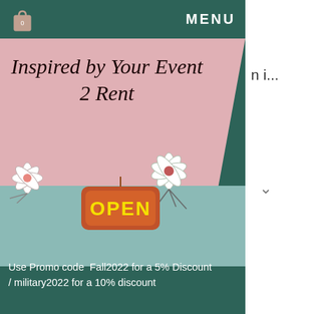MENU
[Figure (screenshot): Website menu overlay for 'Inspired by Your Event 2 Rent' showing the store logo on a pink background with floral decorations and an OPEN sign, over a dark teal panel with promo code text, a search bar, and partial page content below including phone, email, and Facebook contact icons.]
Use Promo code  Fall2022 for a 5% Discount   / military2022 for a 10% discount
Search...
e in india, where to buy
Phone
Email
Facebook